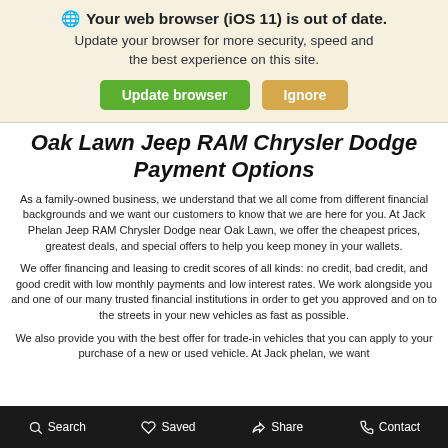🌐 Your web browser (iOS 11) is out of date. Update your browser for more security, speed and the best experience on this site.
Update browser | Ignore
Oak Lawn Jeep RAM Chrysler Dodge Payment Options
As a family-owned business, we understand that we all come from different financial backgrounds and we want our customers to know that we are here for you. At Jack Phelan Jeep RAM Chrysler Dodge near Oak Lawn, we offer the cheapest prices, greatest deals, and special offers to help you keep money in your wallets.
We offer financing and leasing to credit scores of all kinds: no credit, bad credit, and good credit with low monthly payments and low interest rates. We work alongside you and one of our many trusted financial institutions in order to get you approved and on to the streets in your new vehicles as fast as possible.
We also provide you with the best offer for trade-in vehicles that you can apply to your purchase of a new or used vehicle. At Jack phelan, we want
Search  Saved  Share  Contact